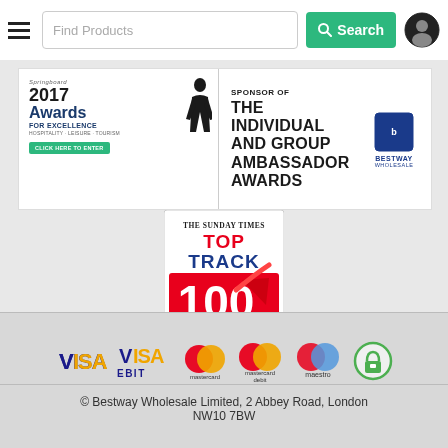Find Products | Search
[Figure (infographic): Springboard 2017 Awards for Excellence - Sponsor of The Individual and Group Ambassador Awards, presented by Bestway Wholesale]
[Figure (logo): The Sunday Times Top Track 100 2018, sponsored by HSBC UK]
[Figure (infographic): Payment method logos: VISA, VISA Debit, Mastercard, Mastercard Debit, Maestro, Secure Lock]
© Bestway Wholesale Limited, 2 Abbey Road, London NW10 7BW